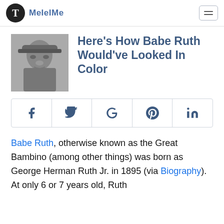MeIeIMe
Here's How Babe Ruth Would've Looked In Color
[Figure (infographic): Social share buttons: Facebook, Twitter, Google, Pinterest, LinkedIn]
Babe Ruth, otherwise known as the Great Bambino (among other things) was born as George Herman Ruth Jr. in 1895 (via Biography). At only 6 or 7 years old, Ruth